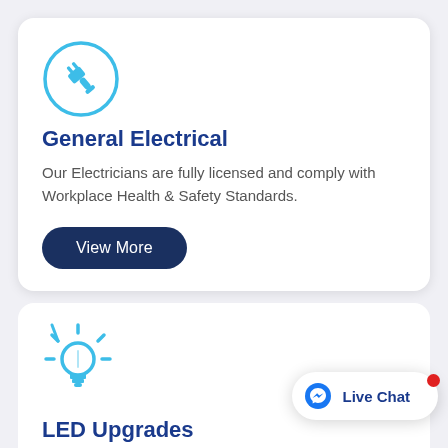[Figure (illustration): Blue electric plug icon inside a light blue circle]
General Electrical
Our Electricians are fully licensed and comply with Workplace Health & Safety Standards.
[Figure (illustration): View More button — dark navy rounded rectangle]
[Figure (illustration): Blue light bulb icon with rays, no circle background]
LED Upgrades
We specialise in a range of LED Upgrades ranging from LED Downlights to Stra...
[Figure (illustration): Live Chat button with Messenger icon and red notification dot]